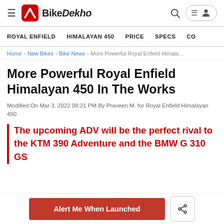BikeDekho
ROYAL ENFIELD  HIMALAYAN 450  PRICE  SPECS  CO
Home > New Bikes > Bike News > More Powerful Royal Enfield Himalayan 450 ...
More Powerful Royal Enfield Himalayan 450 In The Works
Modified On Mar 3, 2022 08:21 PM By Praveen M. for Royal Enfield Himalayan 450
The upcoming ADV will be the perfect rival to the KTM 390 Adventure and the BMW G 310 GS